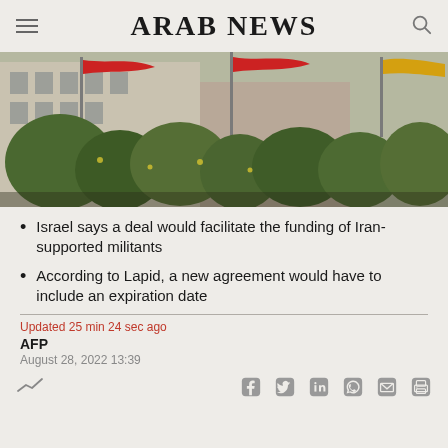ARAB NEWS
[Figure (photo): Photo of Iranian flags at half-mast in front of a brick building with vegetation in the foreground]
Israel says a deal would facilitate the funding of Iran-supported militants
According to Lapid, a new agreement would have to include an expiration date
Updated 25 min 24 sec ago
AFP
August 28, 2022 13:39